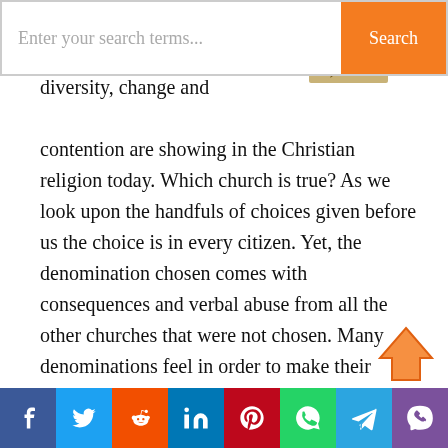[Figure (screenshot): Search bar with placeholder text 'Enter your search terms...' and orange 'Search' button]
diversity, change and contention are showing in the Christian religion today. Which church is true? As we look upon the handfuls of choices given before us the choice is in every citizen. Yet, the denomination chosen comes with consequences and verbal abuse from all the other churches that were not chosen. Many denominations feel in order to make their religion more secure, faithful, or right they must put down others to boost themselves up. The Assembly of God faith is a group of Pentecostal Christians who share the same
[Figure (other): Orange scroll-to-top arrow icon]
[Figure (other): Social share bar with icons: Facebook, Twitter, Reddit, LinkedIn, Pinterest, WhatsApp, Telegram, Viber]